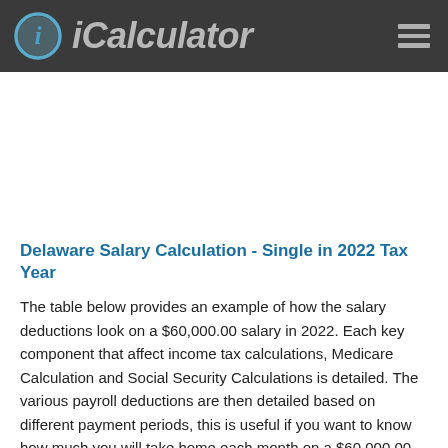iCalculator
Delaware Salary Calculation - Single in 2022 Tax Year
The table below provides an example of how the salary deductions look on a $60,000.00 salary in 2022. Each key component that affect income tax calculations, Medicare Calculation and Social Security Calculations is detailed. The various payroll deductions are then detailed based on different payment periods, this is useful if you want to know how much you will take home each month on a $60,000.00 salary or how much you would earn each year based on